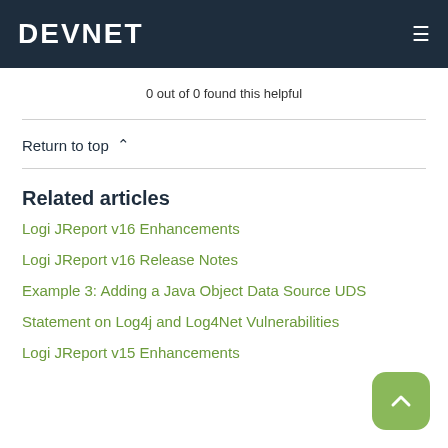DEVNET
0 out of 0 found this helpful
Return to top ∧
Related articles
Logi JReport v16 Enhancements
Logi JReport v16 Release Notes
Example 3: Adding a Java Object Data Source UDS
Statement on Log4j and Log4Net Vulnerabilities
Logi JReport v15 Enhancements